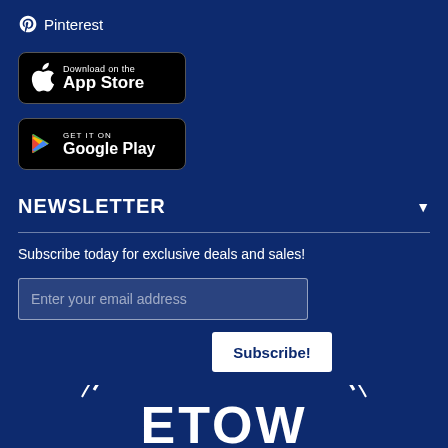Pinterest
[Figure (screenshot): Download on the App Store button (black rounded rectangle with Apple logo)]
[Figure (screenshot): Get it on Google Play button (black rounded rectangle with Google Play logo)]
NEWSLETTER
Subscribe today for exclusive deals and sales!
Enter your email address
Subscribe!
[Figure (logo): Partial circular logo with text reading ETOW (part of HOMETOWN), white text on dark blue background]